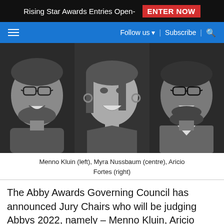Rising Star Awards Entries Open- ENTER NOW
Follow us ▾  |  Subscribe  |  🔍
[Figure (photo): Black and white photograph of three people smiling against a yellow background: Menno Kluin (left, man with glasses and beard), Myra Nussbaum (centre, woman with straight hair and hoop earrings), Aricio Fortes (right, man with glasses and beard)]
Menno Kluin (left), Myra Nussbaum (centre), Aricio Fortes (right)
The Abby Awards Governing Council has announced Jury Chairs who will be judging Abbys 2022, namely – Menno Kluin, Aricio Fortes and Myra Nussbaum, who are stalwarts